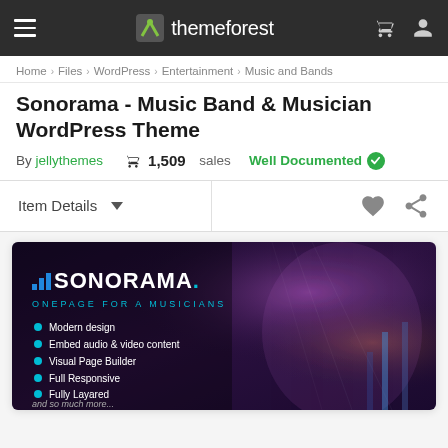themeforest
Home > Files > WordPress > Entertainment > Music and Bands
Sonorama - Music Band & Musician WordPress Theme
By jellythemes   1,509 sales   Well Documented
Item Details
[Figure (screenshot): Sonorama WordPress theme preview image showing dark background with music event scene. Text reads: SONORAMA. ONEPAGE FOR A MUSICIANS. Bullet points: Modern design, Embed audio & video content, Visual Page Builder, Full Responsive, Fully Layared, and so much more...]